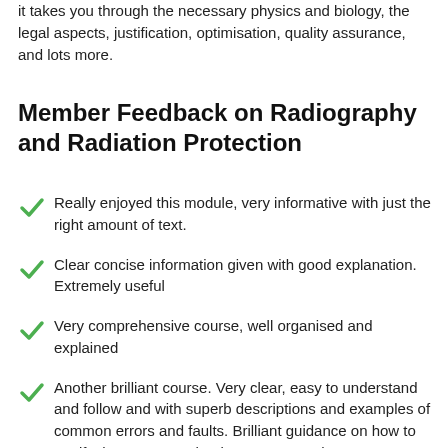it takes you through the necessary physics and biology, the legal aspects, justification, optimisation, quality assurance, and lots more.
Member Feedback on Radiography and Radiation Protection
Really enjoyed this module, very informative with just the right amount of text.
Clear concise information given with good explanation. Extremely useful
Very comprehensive course, well organised and explained
Another brilliant course. Very clear, easy to understand and follow and with superb descriptions and examples of common errors and faults. Brilliant guidance on how to rectify these errors. Thank you very much.